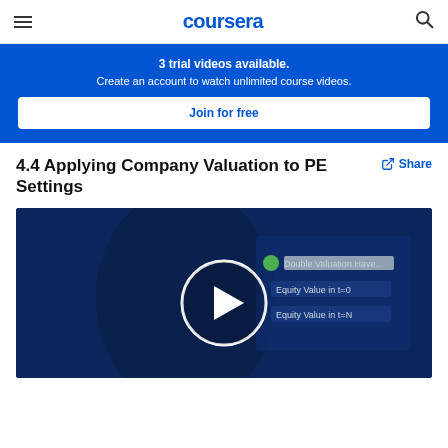coursera
3 trial videos available. Create an account to watch unlimited course videos.
Join for free
4.4 Applying Company Valuation to PE Settings
Share
[Figure (screenshot): Video thumbnail showing a lecturer in front of a dark blue background with a finance-related slide. A white circle play button is centered on the image. Slide text includes 'Double Valuation Have...', 'Equity Value in t=0', 'Equity Value in t=N'.]